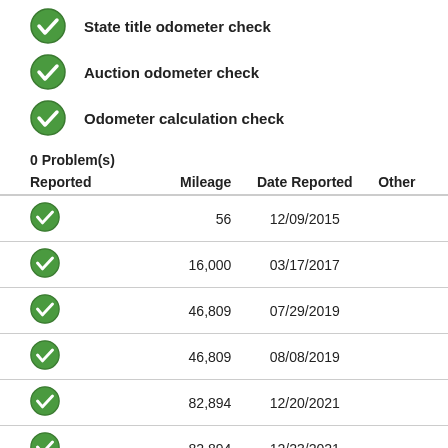State title odometer check
Auction odometer check
Odometer calculation check
0 Problem(s)
| Reported | Mileage | Date Reported | Other |
| --- | --- | --- | --- |
| ✓ | 56 | 12/09/2015 |  |
| ✓ | 16,000 | 03/17/2017 |  |
| ✓ | 46,809 | 07/29/2019 |  |
| ✓ | 46,809 | 08/08/2019 |  |
| ✓ | 82,894 | 12/20/2021 |  |
| ✓ | 82,894 | 12/23/2021 |  |